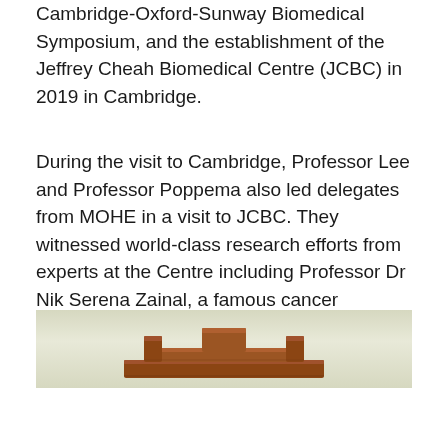Cambridge-Oxford-Sunway Biomedical Symposium, and the establishment of the Jeffrey Cheah Biomedical Centre (JCBC) in 2019 in Cambridge.
During the visit to Cambridge, Professor Lee and Professor Poppema also led delegates from MOHE in a visit to JCBC. They witnessed world-class research efforts from experts at the Centre including Professor Dr Nik Serena Zainal, a famous cancer researcher hailing from Kelantan, Malaysia.
[Figure (photo): A photograph showing the top portion of what appears to be a wooden architectural element or decorative piece, set against a light greenish-beige wall background.]